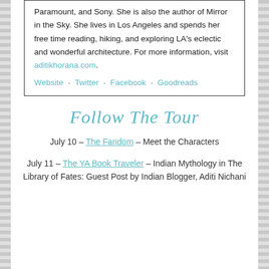Paramount, and Sony. She is also the author of Mirror in the Sky. She lives in Los Angeles and spends her free time reading, hiking, and exploring LA's eclectic and wonderful architecture. For more information, visit aditikhorana.com.
Website · Twitter · Facebook · Goodreads
Follow The Tour
July 10 – The Fandom – Meet the Characters
July 11 – The YA Book Traveler – Indian Mythology in The Library of Fates: Guest Post by Indian Blogger, Aditi Nichani